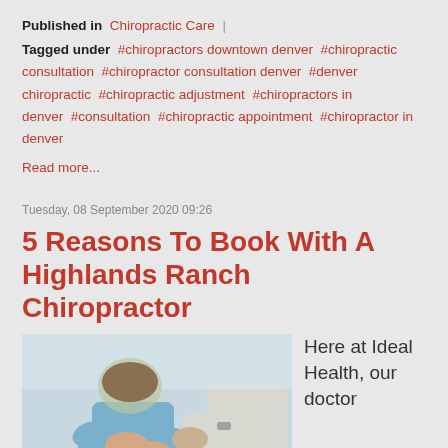Published in  Chiropractic Care
Tagged under  #chiropractors downtown denver #chiropractic consultation  #chiropractor consultation denver #denver chiropractic  #chiropractic adjustment  #chiropractors in denver  #consultation  #chiropractic appointment #chiropractor in denver
Read more...
Tuesday, 08 September 2020 09:26
5 Reasons To Book With A Highlands Ranch Chiropractor
[Figure (photo): A person in a blue shirt holding their lower back in pain, with a chiropractor's hand touching their back, suggesting a chiropractic examination.]
Here at Ideal Health, our doctor, Grego